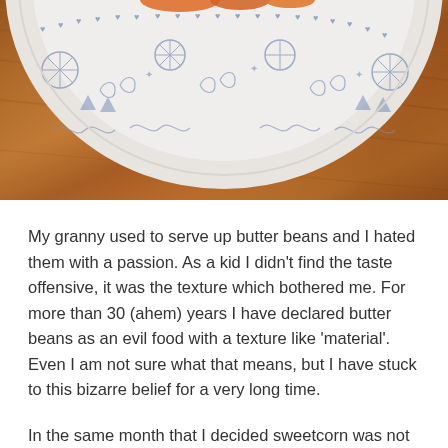[Figure (photo): Close-up photo of a decorative blue and white patterned plate on a wooden table surface, with orange food items visible at the very top edge of the plate.]
My granny used to serve up butter beans and I hated them with a passion.  As a kid I didn't find the taste offensive,  it was the texture which bothered me.  For more than 30 (ahem) years I have declared butter beans as an evil food with a texture like 'material'.  Even I am not sure what that means, but I have stuck to this bizarre belief for a very long time.
In the same month that I decided sweetcorn was not actually the food of the Devil (again something I had stuck